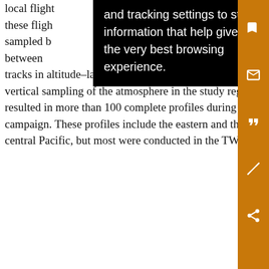local flight tracks in altitude–latitude space in Fig. 11). Extensive vertical sampling of the atmosphere in the study region resulted in more than 100 complete profiles during the campaign. These profiles include the eastern and the central Pacific, but most were conducted in the TWP.
[Figure (other): Black tooltip/popup overlay showing text: 'and tracking settings to store information that help give you the very best browsing experience.' with orange sidebar icons (save, email, quote, annotation, share)]
CO flig ope don the